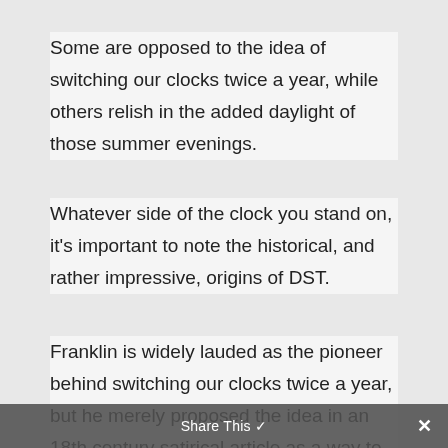Some are opposed to the idea of switching our clocks twice a year, while others relish in the added daylight of those summer evenings.
Whatever side of the clock you stand on, it's important to note the historical, and rather impressive, origins of DST.
Franklin is widely lauded as the pioneer behind switching our clocks twice a year, but he merely proposed the idea in an 18th century satirical article as a way to save money on candle and lamp oil.
Share This ✓